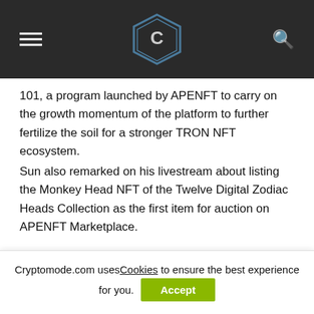CryptoMode logo header with hamburger menu and search icon
101, a program launched by APENFT to carry on the growth momentum of the platform to further fertilize the soil for a stronger TRON NFT ecosystem.
Sun also remarked on his livestream about listing the Monkey Head NFT of the Twelve Digital Zodiac Heads Collection as the first item for auction on APENFT Marketplace.
“THIS AUCTION ON APENFT MARKETPLACE IS EXPECTED TO INTRODUCE DIGITIZED ASIAN ART
Cryptomode.com uses Cookies to ensure the best experience for you.